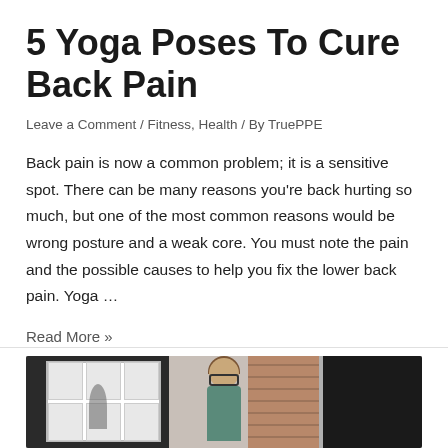5 Yoga Poses To Cure Back Pain
Leave a Comment / Fitness, Health / By TruePPE
Back pain is now a common problem; it is a sensitive spot. There can be many reasons you’re back hurting so much, but one of the most common reasons would be wrong posture and a weak core. You must note the pain and the possible causes to help you fix the lower back pain. Yoga …
Read More »
[Figure (photo): Photo of a smiling woman with glasses and long hair, standing outdoors in front of a white door and brick wall, wearing a teal/green top.]